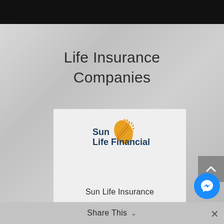Life Insurance Companies
[Figure (logo): Sun Life Financial logo — golden sun/leaf emblem with 'Sun Life Financial' text in dark navy blue]
Sun Life Insurance
Share This
[Figure (other): Scroll-up arrow button (gray rectangle with white chevron up)]
[Figure (other): Facebook Messenger button (blue circle with white lightning bolt messenger icon)]